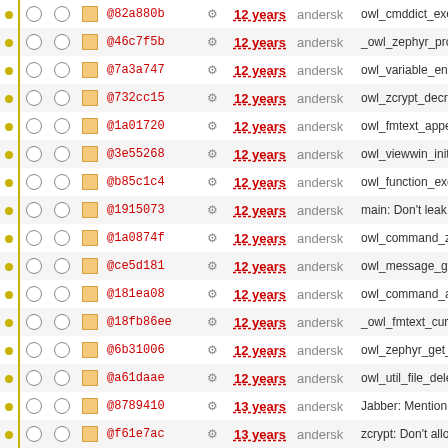|  |  |  | hash |  | age | author | description |
| --- | --- | --- | --- | --- | --- | --- | --- |
| • | ○ | ○ | @82a880b | ⚙ | 12 years | andersk | owl_cmddict_exec... |
| • | ○ | ○ | @46c7f5b | ⚙ | 12 years | andersk | _owl_zephyr_proce... |
| • | ○ | ○ | @7a3a747 | ⚙ | 12 years | andersk | owl_variable_enum_... |
| • | ○ | ○ | @732cc15 | ⚙ | 12 years | andersk | owl_zcrypt_decrypt,... |
| • | ○ | ○ | @1a01720 | ⚙ | 12 years | andersk | owl_fmtext_append... |
| • | ○ | ○ | @3e55268 | ⚙ | 12 years | andersk | owl_viewwin_init_fr... |
| • | ○ | ○ | @b85c1c4 | ⚙ | 12 years | andersk | owl_function_exec:... |
| • | ○ | ○ | @1915073 | ⚙ | 12 years | andersk | main: Don't leak the... |
| • | ○ | ○ | @1a0874f | ⚙ | 12 years | andersk | owl_command_zwri... |
| • | ○ | ○ | @ce5d181 | ⚙ | 12 years | andersk | owl_message_get_c... |
| • | ○ | ○ | @181ea08 | ⚙ | 12 years | andersk | owl_command_aim... |
| • | ○ | ○ | @18fb86ee | ⚙ | 12 years | andersk | _owl_fmtext_curs_v... |
| • | ○ | ○ | @6b31006 | ⚙ | 12 years | andersk | owl_zephyr_get_am... |
| • | ○ | ○ | @a61daae | ⚙ | 12 years | andersk | owl_util_file_deletel... |
| • | ○ | ○ | @8789410 | ⚙ | 13 years | andersk | Jabber: Mention [-a... |
| • | ○ | ○ | @f61e7ac | ⚙ | 13 years | andersk | zcrypt: Don't allocat... |
| • | ○ | ○ | @1f37eba | ⚙ | 13 years | andersk | zcrypt: Don't read o... |
| • | ○ | ○ | @9be80b5 | ⚙ | 13 years | andersk | zcrypt: Add tests. Si... |